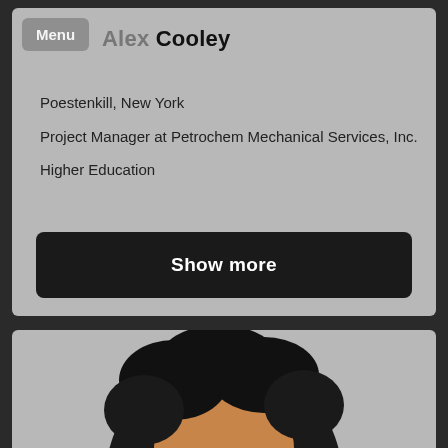Menu
Alex Cooley
Poestenkill, New York
Project Manager at Petrochem Mechanical Services, Inc.
Higher Education
Show more
[Figure (photo): Top portion of a person's head with dark curly hair, photographed against a light gray background.]